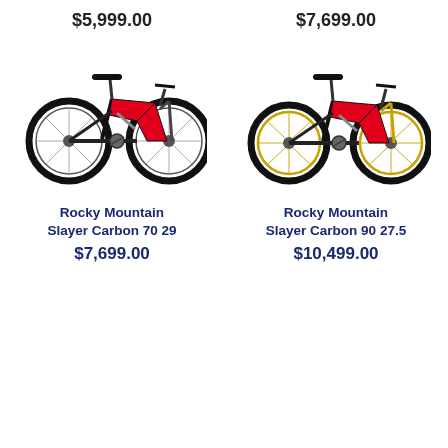$5,999.00
$7,699.00
[Figure (photo): Rocky Mountain Slayer Carbon mountain bike in red and black, side profile view, 29-inch wheels]
[Figure (photo): Rocky Mountain Slayer Carbon 90 mountain bike in red and black with gold fork, side profile view, 27.5-inch wheels]
Rocky Mountain Slayer Carbon 70 29
$7,699.00
Rocky Mountain Slayer Carbon 90 27.5
$10,499.00